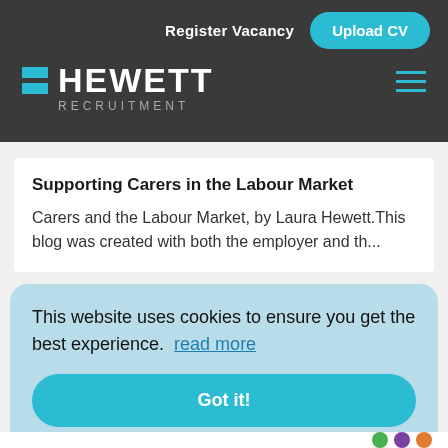Register Vacancy  Upload CV
[Figure (logo): Hewett Recruitment logo with cyan squares and white text on dark grey background]
Supporting Carers in the Labour Market
Carers and the Labour Market, by Laura Hewett.This blog was created with both the employer and th...
This website uses cookies to ensure you get the best experience.  read more

Got it!